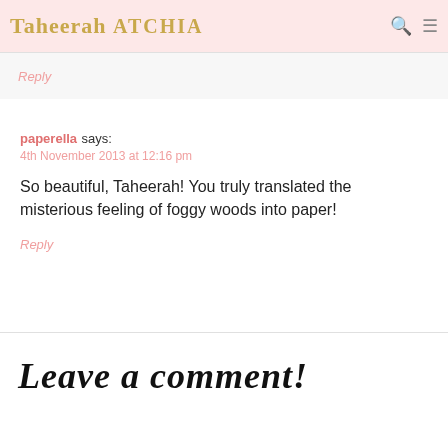Taheerah ATCHIA
Reply
paperella says:
4th November 2013 at 12:16 pm
So beautiful, Taheerah! You truly translated the misterious feeling of foggy woods into paper!
Reply
Leave a comment!